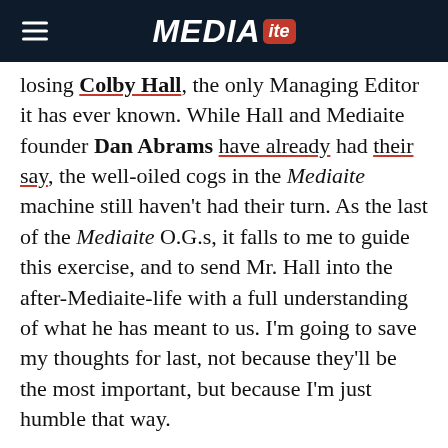MEDIAITE
losing Colby Hall, the only Managing Editor it has ever known. While Hall and Mediaite founder Dan Abrams have already had their say, the well-oiled cogs in the Mediaite machine still haven't had their turn. As the last of the Mediaite O.G.s, it falls to me to guide this exercise, and to send Mr. Hall into the after-Mediaite-life with a full understanding of what he has meant to us. I'm going to save my thoughts for last, not because they'll be the most important, but because I'm just humble that way.
Anyone who reads this site regularly already knows that Colby Hall is all about the hard work, and the fruits of that work deliver (hope and battle for…)